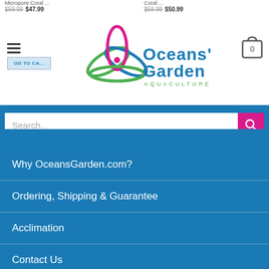[Figure (logo): Oceans' Garden Aquaculture logo with stylized flower/leaf design in pink and green, blue text]
Micropore Coral ... $59.99 $47.99
Coral ... $59.99 $50.99
ADD TO CA...
Search...
Why OceansGarden.com?
Ordering, Shipping & Guarantee
Acclimation
Contact Us
Privacy Policy